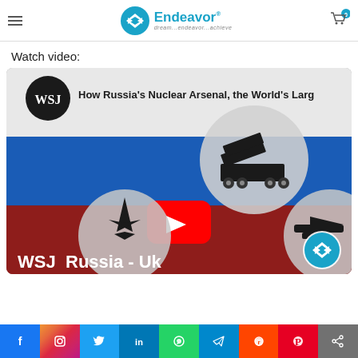Endeavor — dream...endeavor...achieve
Watch video:
[Figure (screenshot): YouTube video thumbnail: WSJ — How Russia's Nuclear Arsenal, the World's Largest... Video thumbnail shows Russian flag background with military weapon icons (missile launcher truck, jet fighter, aircraft) in circular badges, a YouTube play button in the center, and 'WSJ Russia-Ukraine' text at bottom. Endeavor logo watermark visible bottom right.]
Social share bar: Facebook, Instagram, Twitter, LinkedIn, WhatsApp, Telegram, Reddit, Pinterest, Share